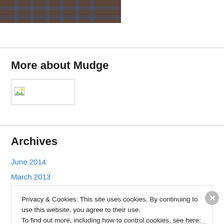[Figure (photo): Partial photo of a person wearing a plaid shirt, cropped at top of page]
More about Mudge
[Figure (photo): Broken/missing image placeholder with small image icon]
Archives
June 2014
March 2013
Privacy & Cookies: This site uses cookies. By continuing to use this website, you agree to their use.
To find out more, including how to control cookies, see here: Cookie Policy
Close and accept